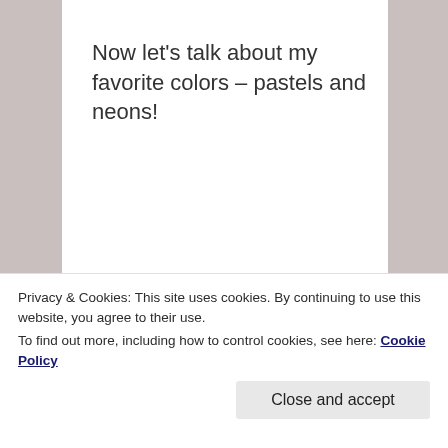Now let’s talk about my favorite colors – pastels and neons!
[Figure (photo): Photograph of a clear plastic storage container with lid, shot from above at an angle, showing wood floor background underneath and inside the container.]
[Figure (photo): Partial bottom strip showing colorful markers or pens in neon and pastel colors including green, pink, red, yellow.]
Privacy & Cookies: This site uses cookies. By continuing to use this website, you agree to their use.
To find out more, including how to control cookies, see here: Cookie Policy
Close and accept